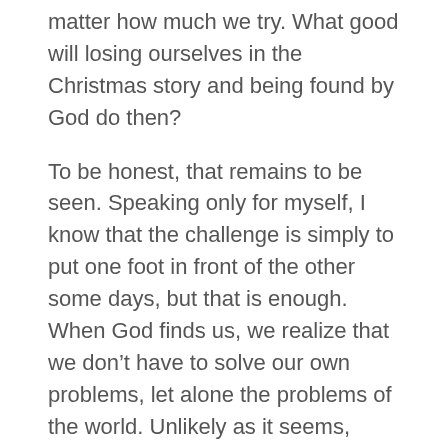matter how much we try. What good will losing ourselves in the Christmas story and being found by God do then?
To be honest, that remains to be seen. Speaking only for myself, I know that the challenge is simply to put one foot in front of the other some days, but that is enough. When God finds us, we realize that we don't have to solve our own problems, let alone the problems of the world. Unlikely as it seems, when God finds us, we simply have to abide in God.
To be sure, abiding in God is another mystery that would take another sermon